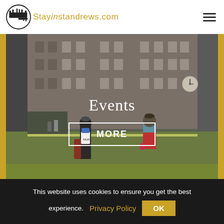Stayinstandrews.com
[Figure (photo): Two golfers walking on a golf course with historic St Andrews clubhouse building in the background. One person is a caddie in dark clothing and hat, the other is wearing red trousers and a blue-green top. They walk on a green fairway with yellow grass borders.]
Events
MORE
This website uses cookies to ensure you get the best experience. Privacy Policy OK